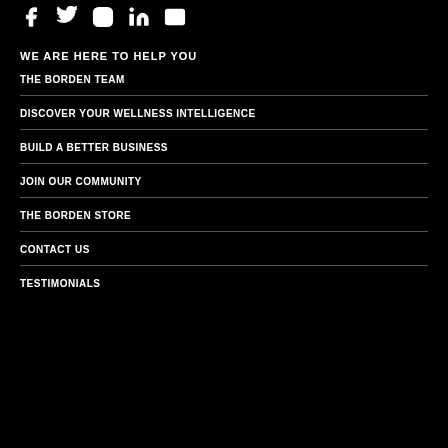Social media icons: Facebook, Twitter, Instagram, LinkedIn, Email
WE ARE HERE TO HELP YOU
THE BORDEN TEAM
DISCOVER YOUR WELLNESS INTELLIGENCE
BUILD A BETTER BUSINESS
JOIN OUR COMMUNITY
THE BORDEN STORE
CONTACT US
TESTIMONIALS